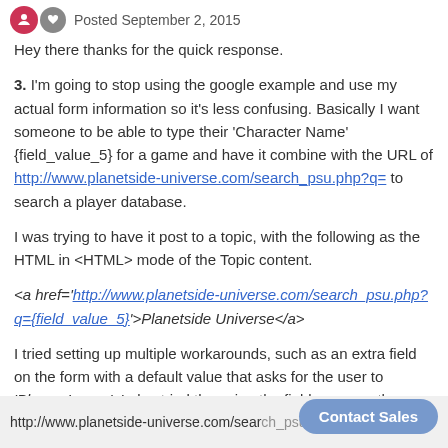Posted September 2, 2015
Hey there thanks for the quick response.
3. I'm going to stop using the google example and use my actual form information so it's less confusing. Basically I want someone to be able to type their 'Character Name' {field_value_5} for a game and have it combine with the URL of http://www.planetside-universe.com/search_psu.php?q= to search a player database.
I was trying to have it post to a topic, with the following as the HTML in <HTML> mode of the Topic content.
<a href='http://www.planetside-universe.com/search_psu.php?q={field_value_5}'>Planetside Universe</a>
I tried setting up multiple workarounds, such as an extra field on the form with a default value that asks for the user to 'Please Ignore', I also tried the using the field name as the beginning of the link I want (these are an ugly way to do it)
http://www.planetside-universe.com/search_psu.php?q